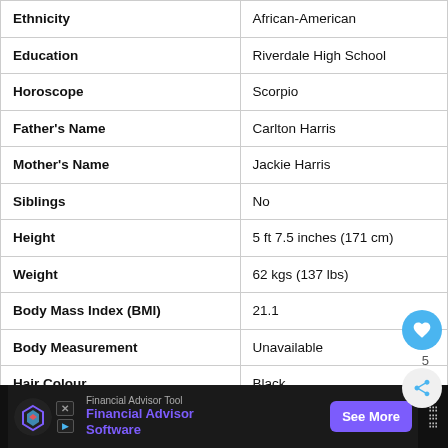| Attribute | Value |
| --- | --- |
| Ethnicity | African-American |
| Education | Riverdale High School |
| Horoscope | Scorpio |
| Father's Name | Carlton Harris |
| Mother's Name | Jackie Harris |
| Siblings | No |
| Height | 5 ft 7.5 inches (171 cm) |
| Weight | 62 kgs (137 lbs) |
| Body Mass Index (BMI) | 21.1 |
| Body Measurement | Unavailable |
| Hair Colour | Black |
| Eye Colour | Dark Brown |